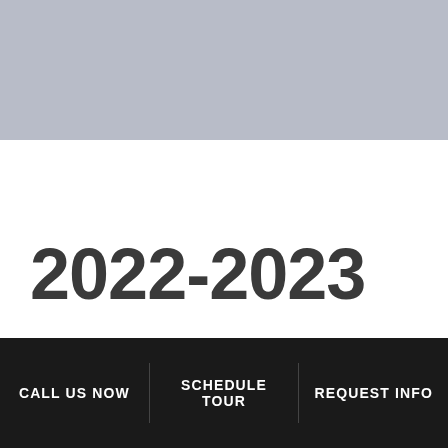[Figure (photo): Gray banner image placeholder at top of page]
2022-2023
CALL US NOW
SCHEDULE TOUR
REQUEST INFO